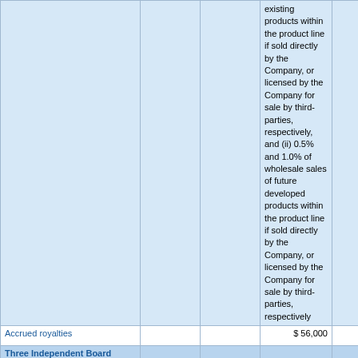|  |  |  |  |  |
| --- | --- | --- | --- | --- |
|  |  |  | ...existing products within the product line if sold directly by the Company, or licensed by the Company for sale by third-parties, respectively, and (ii) 0.5% and 1.0% of wholesale sales of future developed products within the product line if sold directly by the Company, or licensed by the Company for sale by third-parties, respectively |  |
| Accrued royalties |  |  | $ 56,000 |  |
| Three Independent Board Members [Member] |  |  |  |  |
| Deferred Compensation Arrangement with Individual, Excluding Share-Based Payments and Postretirement Benefits [Line Items] |  |  |  |  |
| Options grant period |  | 5 years |  |  |
| Share-Based Compensation Arrangement by Share-Based Payment Award, Shares... |  | 100,000 |  |  |